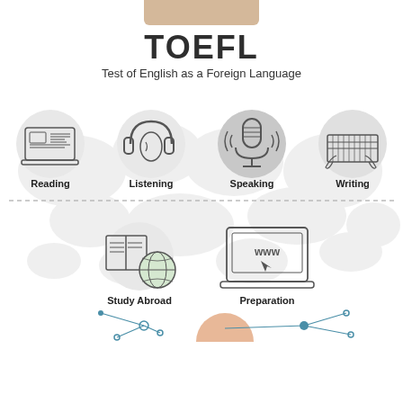TOEFL
Test of English as a Foreign Language
[Figure (infographic): Four TOEFL skill icons in circles on a world map background: Reading (laptop), Listening (headphones with ear), Speaking (microphone), Writing (hands on keyboard). Below a dashed divider: Study Abroad (book with globe), Preparation (laptop with www). At the bottom, a partial network/connector diagram with nodes and lines.]